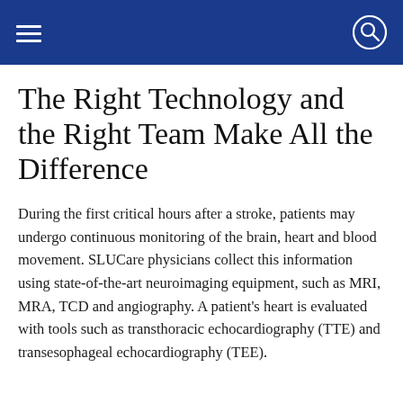The Right Technology and the Right Team Make All the Difference
During the first critical hours after a stroke, patients may undergo continuous monitoring of the brain, heart and blood movement. SLUCare physicians collect this information using state-of-the-art neuroimaging equipment, such as MRI, MRA, TCD and angiography. A patient’s heart is evaluated with tools such as transthoracic echocardiography (TTE) and transesophageal echocardiography (TEE).